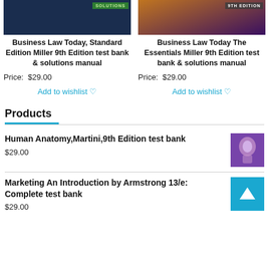[Figure (photo): Book cover image for Business Law Today Standard Edition (dark blue)]
Business Law Today, Standard Edition Miller 9th Edition test bank & solutions manual
Price: $29.00
Add to wishlist ♡
[Figure (photo): Book cover image for Business Law Today The Essentials 9th Edition (colorful)]
Business Law Today The Essentials Miller 9th Edition test bank & solutions manual
Price: $29.00
Add to wishlist ♡
Products
Human Anatomy,Martini,9th Edition test bank
$29.00
[Figure (photo): Book cover thumbnail for Human Anatomy Martini 9th Edition]
Marketing An Introduction by Armstrong 13/e: Complete test bank
$29.00
[Figure (other): Back to top button (blue arrow up)]